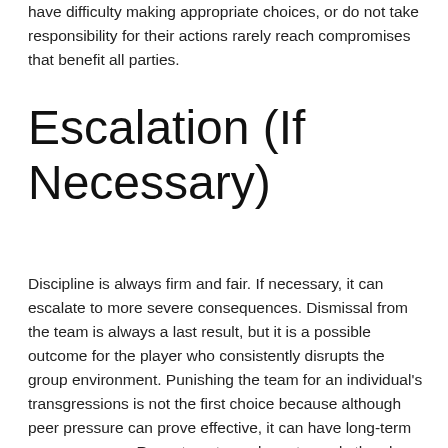have difficulty making appropriate choices, or do not take responsibility for their actions rarely reach compromises that benefit all parties.
Escalation (If Necessary)
Discipline is always firm and fair. If necessary, it can escalate to more severe consequences. Dismissal from the team is always a last result, but it is a possible outcome for the player who consistently disrupts the group environment. Punishing the team for an individual's transgressions is not the first choice because although peer pressure can prove effective, it can have long-term consequences. Resentment may brew towards the player for breaking the rules and hurting the entire squad or the coach may lose the locker room because